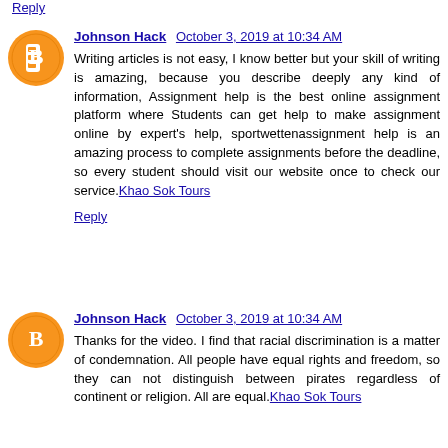Reply
Johnson Hack  October 3, 2019 at 10:34 AM
Writing articles is not easy, I know better but your skill of writing is amazing, because you describe deeply any kind of information, Assignment help is the best online assignment platform where Students can get help to make assignment online by expert's help, sportwettenassignment help is an amazing process to complete assignments before the deadline, so every student should visit our website once to check our service. Khao Sok Tours
Reply
Johnson Hack  October 3, 2019 at 10:34 AM
Thanks for the video. I find that racial discrimination is a matter of condemnation. All people have equal rights and freedom, so they can not distinguish between pirates regardless of continent or religion. All are equal. Khao Sok Tours